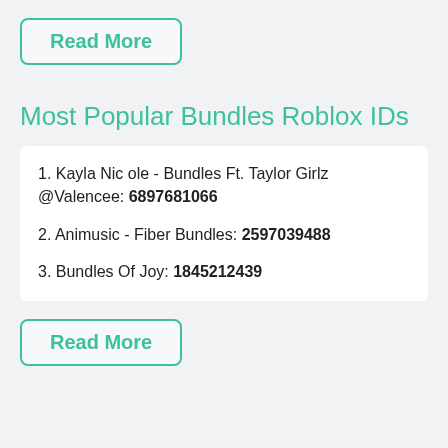Read More
Most Popular Bundles Roblox IDs
1. Kayla Nic ole - Bundles Ft. Taylor Girlz @Valencee: 6897681066
2. Animusic - Fiber Bundles: 2597039488
3. Bundles Of Joy: 1845212439
Read More